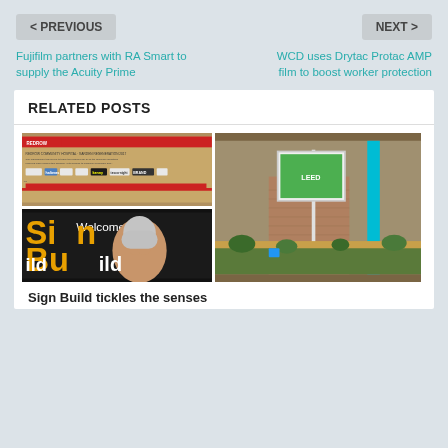< PREVIOUS    NEXT >
Fujifilm partners with RA Smart to supply the Acuity Prime
WCD uses Drytac Protac AMP film to boost worker protection
RELATED POSTS
[Figure (photo): Two-column grid of related post images: top-left shows a Redrow Community Hospital Garden Regeneration 2017 banner with sponsor logos; bottom-left shows a man smiling in front of a 'Welcome to Sign Build' sign with large yellow letters; right column shows an outdoor display sign mounted on a pole near a brick wall with a garden bed.]
Sign Build tickles the senses